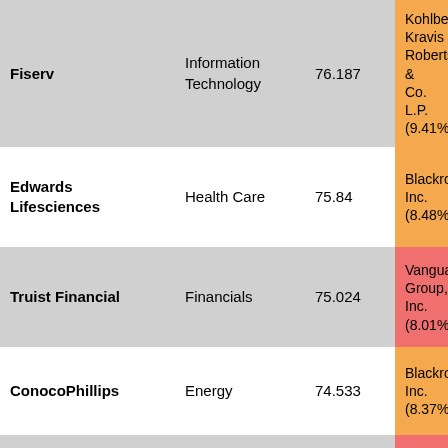| Company | Sector | Value | Top Shareholder |
| --- | --- | --- | --- |
| Fiserv | Information Technology | 76.187 | Kohlberg Kravis Roberts & Co. L.P. (9.41%) |
| Edwards Lifesciences | Health Care | 75.84 | Blackrock Inc. (8.48%) |
| Truist Financial | Financials | 75.024 | Vanguard Group, Inc. (8.01%) |
| ConocoPhillips | Energy | 74.533 | Blackrock Inc. (8.37%) |
| Becton Dickinson | Health Care | 73.644 | Vanguard Group, Inc. (8.46%) |